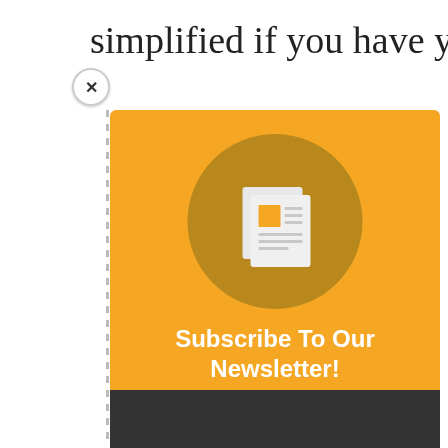simplified if you have your own online
[Figure (infographic): Newsletter subscription popup with orange background, dark gold circle containing a newspaper icon, bold white text 'Subscribe To Our Newsletter!' and subtitle 'Join our mailing list to receive the latest news and updates from our team.' with dark chevron at bottom]
Subscribe To Our Newsletter!
Join our mailing list to receive the latest news and updates from our team.